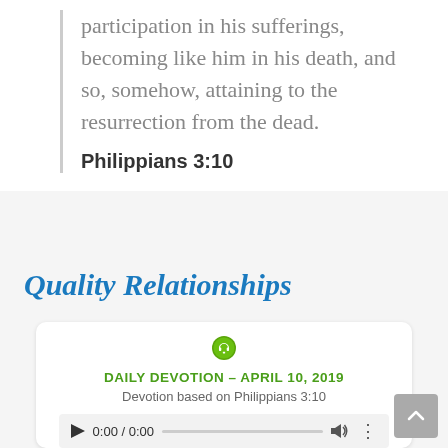participation in his sufferings, becoming like him in his death, and so, somehow, attaining to the resurrection from the dead.
Philippians 3:10
Quality Relationships
[Figure (screenshot): Audio player card with green upload/play icon, title 'DAILY DEVOTION – APRIL 10, 2019', subtitle 'Devotion based on Philippians 3:10', and audio controls showing 0:00 / 0:00]
DAILY DEVOTION – APRIL 10, 2019
Devotion based on Philippians 3:10